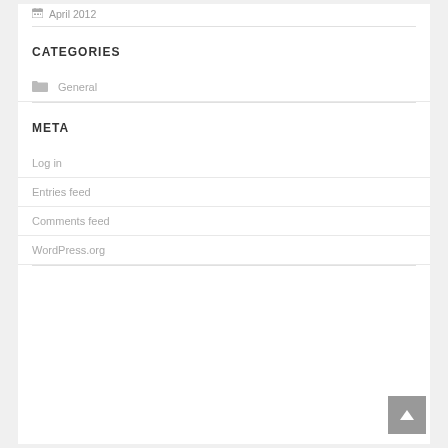April 2012
CATEGORIES
General
META
Log in
Entries feed
Comments feed
WordPress.org